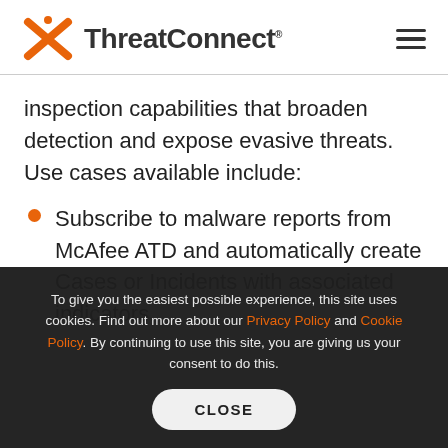ThreatConnect
inspection capabilities that broaden detection and expose evasive threats. Use cases available include:
Subscribe to malware reports from McAfee ATD and automatically create Cases or Incidents with associated indicators.
To give you the easiest possible experience, this site uses cookies. Find out more about our Privacy Policy and Cookie Policy. By continuing to use this site, you are giving us your consent to do this.